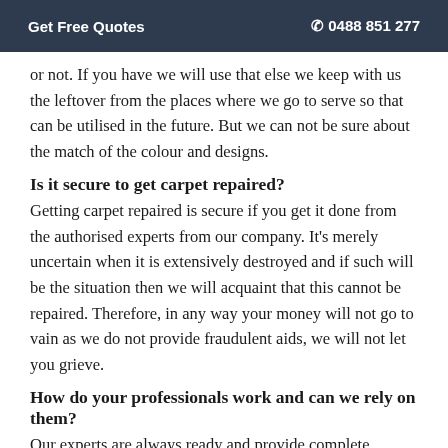Get Free Quotes  📞 0488 851 277
or not. If you have we will use that else we keep with us the leftover from the places where we go to serve so that can be utilised in the future. But we can not be sure about the match of the colour and designs.
Is it secure to get carpet repaired?
Getting carpet repaired is secure if you get it done from the authorised experts from our company. It's merely uncertain when it is extensively destroyed and if such will be the situation then we will acquaint that this cannot be repaired. Therefore, in any way your money will not go to vain as we do not provide fraudulent aids, we will not let you grieve.
How do your professionals work and can we rely on them?
Our experts are always ready and provide complete satisfaction with their best cleaning services. They are hard-working and